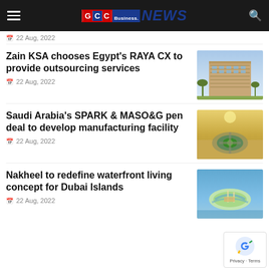GCC Business NEWS
22 Aug, 2022
Zain KSA chooses Egypt's RAYA CX to provide outsourcing services
22 Aug, 2022
[Figure (photo): Multi-storey building with blue facade and palm trees]
Saudi Arabia's SPARK & MASO&G pen deal to develop manufacturing facility
22 Aug, 2022
[Figure (photo): Aerial view of a circular development facility surrounded by desert]
Nakheel to redefine waterfront living concept for Dubai Islands
22 Aug, 2022
[Figure (photo): Aerial view of Dubai Islands waterfront development]